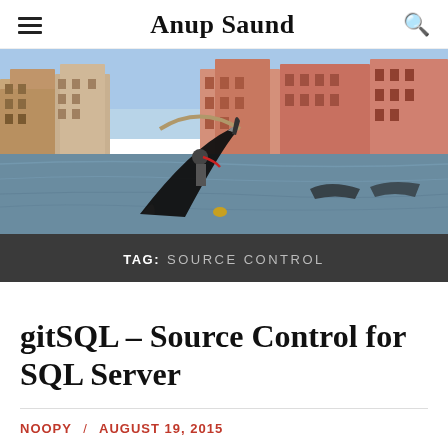Anup Saund
[Figure (photo): Venice canal scene with a gondola in the foreground and colorful historic buildings lining the canal in the background under a blue sky.]
TAG: SOURCE CONTROL
gitSQL – Source Control for SQL Server
NOOPY / AUGUST 19, 2015